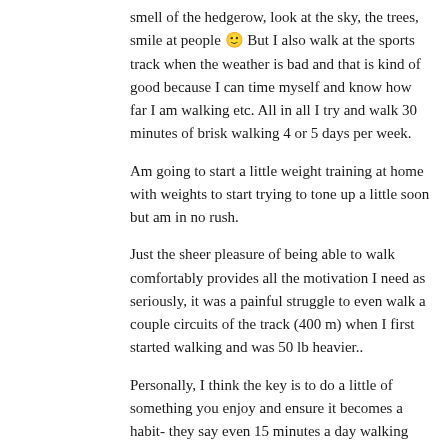smell of the hedgerow, look at the sky, the trees, smile at people 🙂 But I also walk at the sports track when the weather is bad and that is kind of good because I can time myself and know how far I am walking etc. All in all I try and walk 30 minutes of brisk walking 4 or 5 days per week.
Am going to start a little weight training at home with weights to start trying to tone up a little soon but am in no rush.
Just the sheer pleasure of being able to walk comfortably provides all the motivation I need as seriously, it was a painful struggle to even walk a couple circuits of the track (400 m) when I first started walking and was 50 lb heavier..
Personally, I think the key is to do a little of something you enjoy and ensure it becomes a habit- they say even 15 minutes a day walking makes a lot of difference
C xxxx